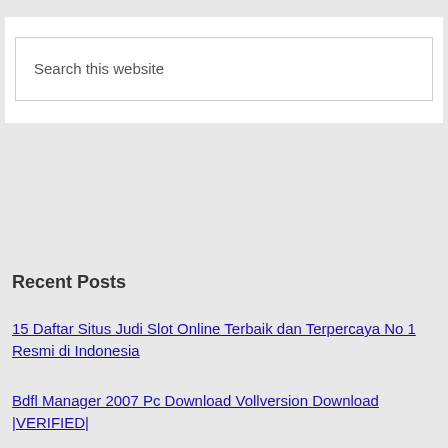Search this website
Recent Posts
15 Daftar Situs Judi Slot Online Terbaik dan Terpercaya No 1 Resmi di Indonesia
Bdfl Manager 2007 Pc Download Vollversion Download |VERIFIED|